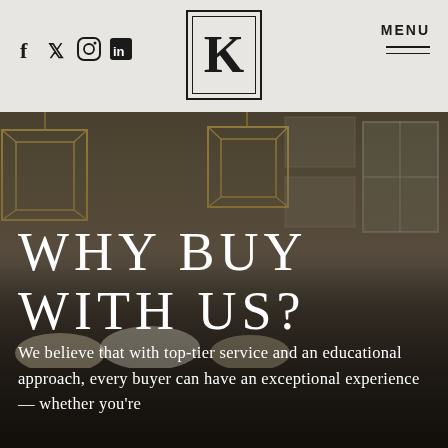[Figure (logo): Letter K logo inside double rectangular border]
[Figure (illustration): Social media icons: f (Facebook), bird (Twitter), camera (Instagram), in (LinkedIn)]
[Figure (illustration): MENU text with hamburger lines icon]
[Figure (photo): Interior kitchen photo with gold geometric pendant lights hanging from ceiling, white cabinets and window visible in background, dark moody atmosphere]
WHY BUY WITH US?
We believe that with top-tier service and an educational approach, every buyer can have an exceptional experience — whether you're buying your first home or are an experience...